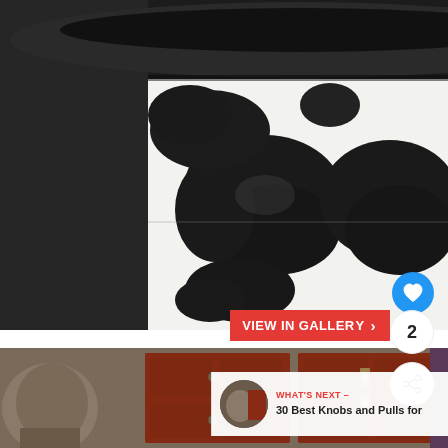[Figure (photo): Close-up photo of a cowhide upholstered sofa/chair showing black and white cow print pattern on the seat and backrest. The left side panel is solid dark charcoal/grey cowhide. The top of the backrest shows a dark cylindrical rolled section.]
[Figure (photo): Partial view of a shop or antique store interior showing red/burgundy wooden Chinese-style cabinets with brass hardware, and a decorative sculptural head (elephant or similar) on the left. A 'WHAT'S NEXT' overlay with thumbnail links to '30 Best Knobs and Pulls for...' article.]